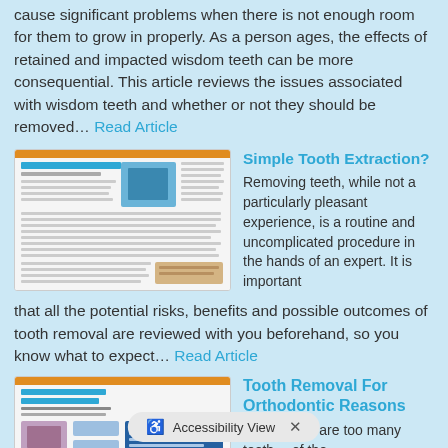cause significant problems when there is not enough room for them to grow in properly. As a person ages, the effects of retained and impacted wisdom teeth can be more consequential. This article reviews the issues associated with wisdom teeth and whether or not they should be removed... Read Article
[Figure (screenshot): Thumbnail image of 'Simple Tooth Extraction?' article page]
Simple Tooth Extraction? Removing teeth, while not a particularly pleasant experience, is a routine and uncomplicated procedure in the hands of an expert. It is important that all the potential risks, benefits and possible outcomes of tooth removal are reviewed with you beforehand, so you know what to expect... Read Article
[Figure (screenshot): Thumbnail image of 'Tooth Removal For Orthodontic Reasons' article page]
Tooth Removal For Orthodontic Reasons When there are too many teeth... of the
Accessibility View